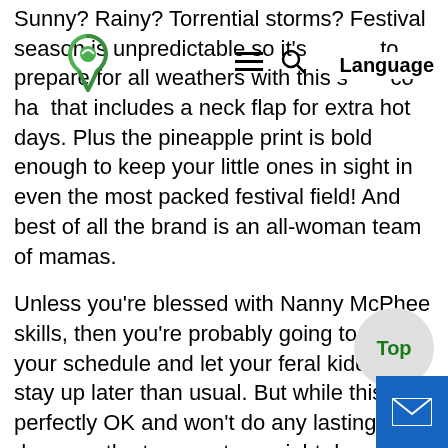Sunny? Rainy? Torrential storms? Festival season is unpredictable so it's best to prepare for all weathers with this super cool hat that includes a neck flap for extra hot days. Plus the pineapple print is bold enough to keep your little ones in sight in even the most packed festival field! And best of all the brand is an all-woman team of mamas.
Unless you're blessed with Nanny McPhee skills, then you're probably going to relax your schedule and let your feral kiddies stay up later than usual. But while this is perfectly OK and won't do any lasting damage, the temperature might drop after dark. So you'll appreciate this funky snuggle suit that will instantly warm up chilly tots and make late night trips to the loo (and fireside marshmallow toasting) infinitely more enjoyable too.
All babies look cute in bonnets. This one has ears. Consider it a festival must-have for chilly nights, rainy days and little bunnies bouncing round by the campfire under the stars.
Picnic blankets come in handy for all sorts of reasons at a festival including...